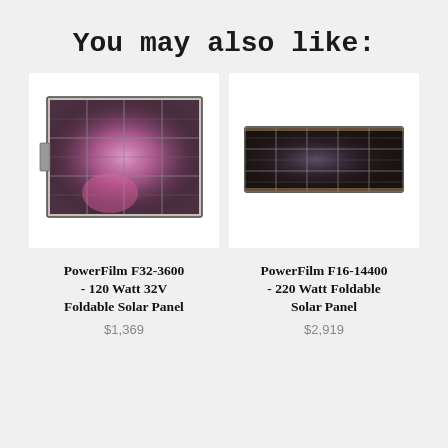You may also like:
[Figure (photo): PowerFilm F32-3600 foldable solar panel product photo — large rectangular solar panel with grid of cells showing iridescent purple/pink reflections]
PowerFilm F32-3600 - 120 Watt 32V Foldable Solar Panel
$1,369
[Figure (photo): PowerFilm F16-14400 foldable solar panel product photo — wide, slim rectangular solar panel with dark cells and grid pattern]
PowerFilm F16-14400 - 220 Watt Foldable Solar Panel
$2,919